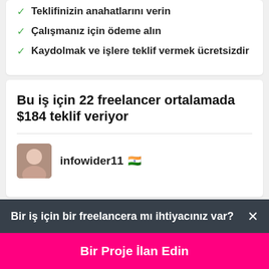Teklifinizin anahatlarını verin
Çalışmanız için ödeme alın
Kaydolmak ve işlere teklif vermek ücretsizdir
Bu iş için 22 freelancer ortalamada $184 teklif veriyor
infowider11 🇮🇳
Bir iş için bir freelancera mı ihtiyacınız var? ×
Bir Proje İlan Edin